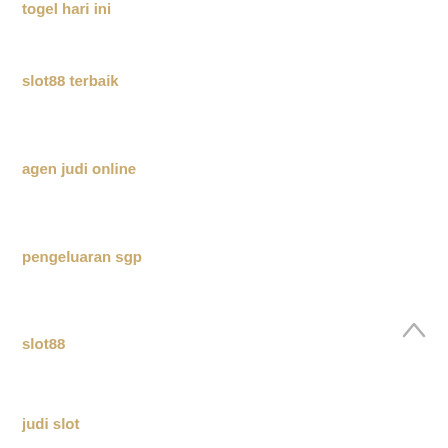togel hari ini
slot88 terbaik
agen judi online
pengeluaran sgp
slot88
judi slot